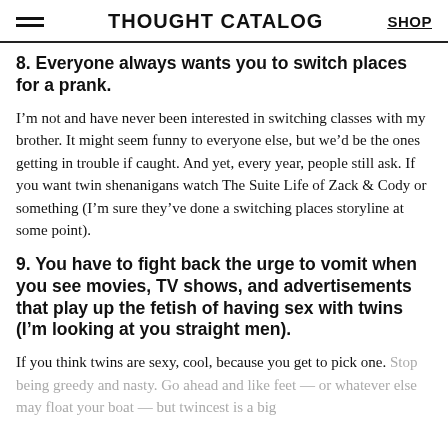THOUGHT CATALOG   SHOP
8. Everyone always wants you to switch places for a prank.
I’m not and have never been interested in switching classes with my brother. It might seem funny to everyone else, but we’d be the ones getting in trouble if caught. And yet, every year, people still ask. If you want twin shenanigans watch The Suite Life of Zack & Cody or something (I’m sure they’ve done a switching places storyline at some point).
9. You have to fight back the urge to vomit when you see movies, TV shows, and advertisements that play up the fetish of having sex with twins (I’m looking at you straight men).
If you think twins are sexy, cool, because you get to pick one. Stop being greedy and nasty. Go ahead and like feet — or whatever else may float your boat — but twincest is a big